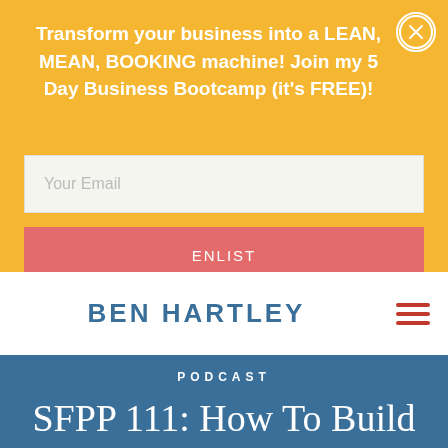Transform your business into a LEAN, MEAN, BOOKING machine! Join my 5 Day Business Bootcamp (it's FREE)!
[Figure (screenshot): Email input field with placeholder text 'Your Email']
[Figure (screenshot): ENLIST button with coral/red background]
BEN HARTLEY
PODCAST
SFPP 111: How To Build